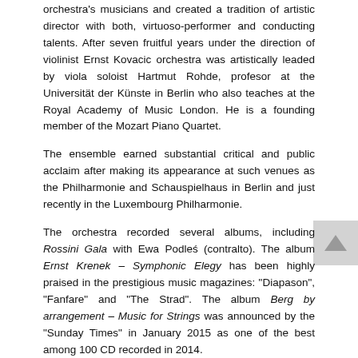orchestra's musicians and created a tradition of artistic director with both, virtuoso-performer and conducting talents. After seven fruitful years under the direction of violinist Ernst Kovacic orchestra was artistically leaded by viola soloist Hartmut Rohde, profesor at the Universität der Künste in Berlin who also teaches at the Royal Academy of Music London. He is a founding member of the Mozart Piano Quartet.
The ensemble earned substantial critical and public acclaim after making its appearance at such venues as the Philharmonie and Schauspielhaus in Berlin and just recently in the Luxembourg Philharmonie.
The orchestra recorded several albums, including Rossini Gala with Ewa Podleś (contralto). The album Ernst Krenek – Symphonic Elegy has been highly praised in the prestigious music magazines: "Diapason", "Fanfare" and "The Strad". The album Berg by arrangement – Music for Strings was announced by the "Sunday Times" in January 2015 as one of the best among 100 CD recorded in 2014.
Conductor, violinist and composer Joseph Swensen took over as Artistic Director from September 1st 2017.
Orchestra's CD Made in Poland was nominated for the